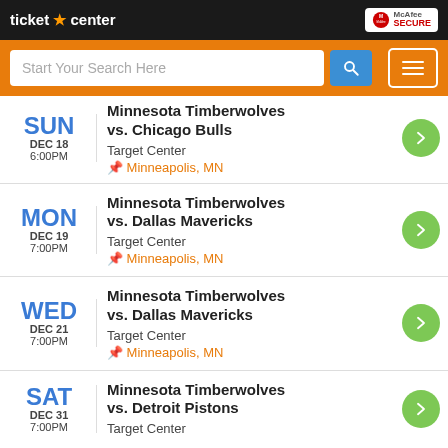ticket center | McAfee SECURE
[Figure (screenshot): Search bar with placeholder 'Start Your Search Here', blue search button, and hamburger menu button on orange background]
SUN DEC 18 6:00PM – Minnesota Timberwolves vs. Chicago Bulls – Target Center – Minneapolis, MN
MON DEC 19 7:00PM – Minnesota Timberwolves vs. Dallas Mavericks – Target Center – Minneapolis, MN
WED DEC 21 7:00PM – Minnesota Timberwolves vs. Dallas Mavericks – Target Center – Minneapolis, MN
SAT DEC 31 7:00PM – Minnesota Timberwolves vs. Detroit Pistons – Target Center